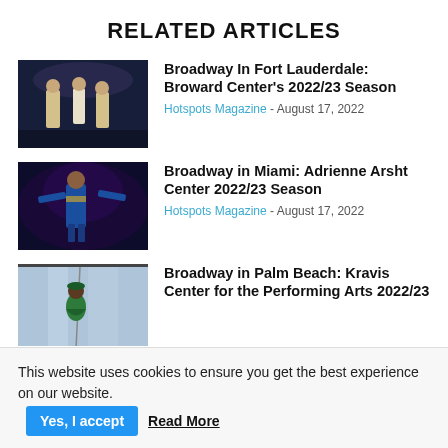RELATED ARTICLES
[Figure (photo): Broadway performers in colonial costume on stage (Hamilton)]
Broadway In Fort Lauderdale: Broward Center's 2022/23 Season
Hotspots Magazine - August 17, 2022
[Figure (photo): Performer in blue costume on stage (Aladdin)]
Broadway in Miami: Adrienne Arsht Center 2022/23 Season
Hotspots Magazine - August 17, 2022
[Figure (photo): Performer flying on stage in green costume (Wicked)]
Broadway in Palm Beach: Kravis Center for the Performing Arts 2022/23
This website uses cookies to ensure you get the best experience on our website.
Yes, I accept
Read More